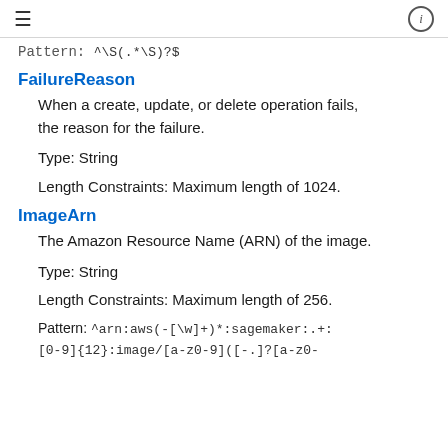≡  ⓘ
Pattern: ^\S(.*\S)?$
FailureReason
When a create, update, or delete operation fails, the reason for the failure.
Type: String
Length Constraints: Maximum length of 1024.
ImageArn
The Amazon Resource Name (ARN) of the image.
Type: String
Length Constraints: Maximum length of 256.
Pattern: ^arn:aws(-[\w]+)*:sagemaker:.+:[0-9]{12}:image/[a-z0-9]([-.]?[a-z0-